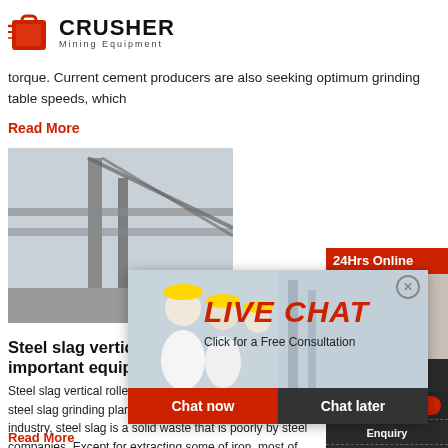[Figure (logo): Crusher Mining Equipment logo with red shopping bag icon and bold CRUSHER text]
torque. Current cement producers are also seeking optimum grinding table speeds, which
Read More
[Figure (photo): Industrial conveyor structure photo]
Steel slag vertical roller mill-important equipment
Steel slag vertical roller mill-important equipment of steel slag grinding plant. As is known to all, in the industry, steel slag is a solid waste that is poorly by steel companies. Except for extracting some of iron, most of them are not effectively utilized.
Read More
[Figure (screenshot): Live Chat popup overlay with workers in hard hats, LIVE CHAT heading, Chat now and Chat later buttons]
[Figure (photo): 24Hrs Online sidebar with support agent photo]
Need questions & suggestion?
Chat Now
Enquiry
limingjlmofen@sina.com